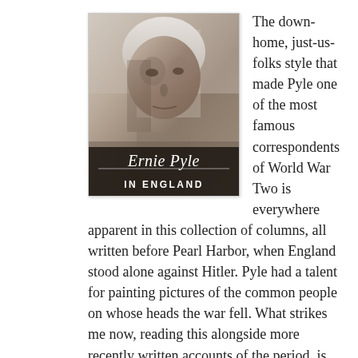The down-home, just-us-folks style that made Pyle one of the most famous correspondents of World War Two is everywhere apparent in this collection of columns, all written before Pearl Harbor, when England stood alone against Hitler. Pyle had a talent for painting pictures of the common people on whose heads the war fell. What strikes me now, reading this alongside more recently written accounts of the period, is how much Pyle sanitized things. In all his months traveling throughout besieged England and especially bomb-smashed London, he seems to meet no one other than plucky, defiant civilians
[Figure (photo): Book cover of 'Ernie Pyle in England' showing a black and white portrait photograph of Ernie Pyle, an older man with white hair, against a sepia-toned background. The cover has a script title 'Ernie Pyle' with a horizontal divider and bold text 'IN ENGLAND' below.]